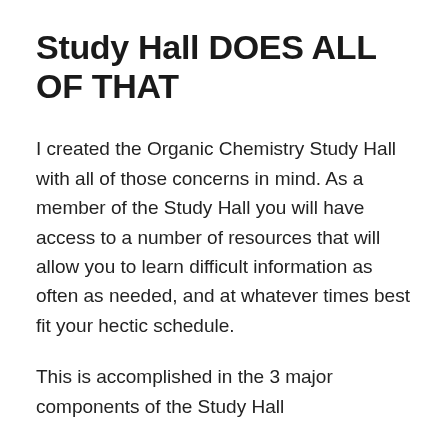Study Hall DOES ALL OF THAT
I created the Organic Chemistry Study Hall with all of those concerns in mind. As a member of the Study Hall you will have access to a number of resources that will allow you to learn difficult information as often as needed, and at whatever times best fit your hectic schedule.
This is accomplished in the 3 major components of the Study Hall
Weekly Live Review Sessions